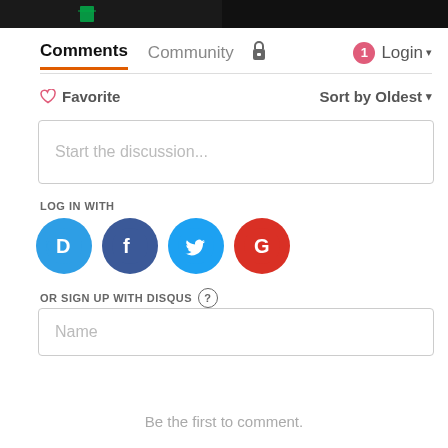[Figure (screenshot): Two thumbnail images at the top of the page cropped partially]
Comments  Community  🔒  1  Login ▾
♡ Favorite   Sort by Oldest ▾
Start the discussion...
LOG IN WITH
[Figure (logo): Social login icons: Disqus (D), Facebook (f), Twitter bird, Google (G)]
OR SIGN UP WITH DISQUS ?
Name
Be the first to comment.